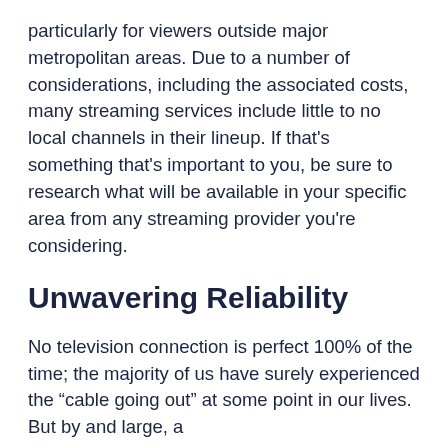particularly for viewers outside major metropolitan areas. Due to a number of considerations, including the associated costs, many streaming services include little to no local channels in their lineup. If that's something that's important to you, be sure to research what will be available in your specific area from any streaming provider you're considering.
Unwavering Reliability
No television connection is perfect 100% of the time; the majority of us have surely experienced the "cable going out" at some point in our lives. But by and large, a